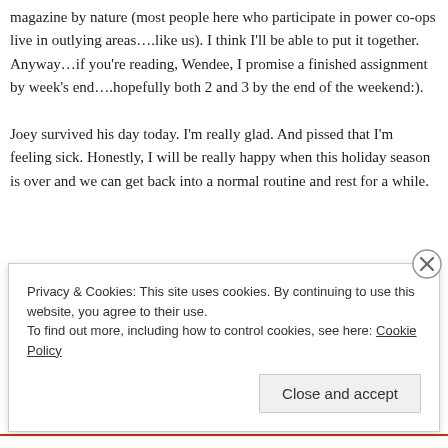magazine by nature (most people here who participate in power co-ops live in outlying areas….like us). I think I'll be able to put it together. Anyway…if you're reading, Wendee, I promise a finished assignment by week's end….hopefully both 2 and 3 by the end of the weekend:).
Joey survived his day today. I'm really glad. And pissed that I'm feeling sick. Honestly, I will be really happy when this holiday season is over and we can get back into a normal routine and rest for a while.
Privacy & Cookies: This site uses cookies. By continuing to use this website, you agree to their use.
To find out more, including how to control cookies, see here: Cookie Policy